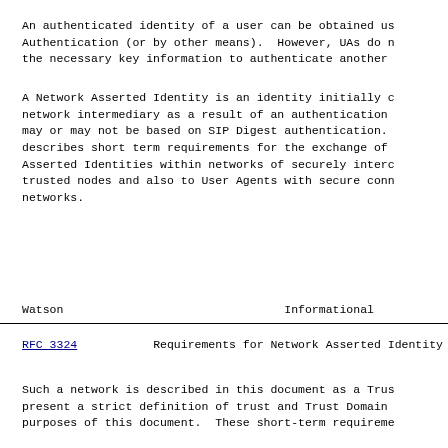An authenticated identity of a user can be obtained using SIP Digest Authentication (or by other means).  However, UAs do not always have the necessary key information to authenticate another UA directly.
A Network Asserted Identity is an identity initially constructed by a network intermediary as a result of an authentication process, which may or may not be based on SIP Digest authentication.  This document describes short term requirements for the exchange of Network Asserted Identities within networks of securely interconnected trusted nodes and also to User Agents with secure connections to such networks.
Watson                       Informational
RFC 3324          Requirements for Network Asserted Identity
Such a network is described in this document as a Trust Domain. We present a strict definition of trust and Trust Domain for the purposes of this document.  These short-term requirements are defined to facilitate the exchange of Network Asserted Identity information...